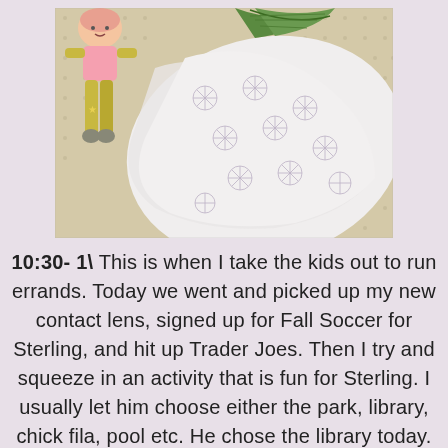[Figure (photo): Photo of a patterned fabric or dress with a floral/starburst print in muted purple/grey tones, a knitted doll or stuffed toy visible on the left side wearing yellow/green, and a green palm leaf visible at the top. Items are laid on a beige dotted surface.]
10:30- 1\ This is when I take the kids out to run errands.  Today we went and picked up my new contact lens, signed up for Fall Soccer for Sterling,  and hit up Trader Joes.  Then I try and squeeze in an activity that is fun for Sterling. I usually let him choose either the park, library, chick fila, pool etc.  He chose the library today.